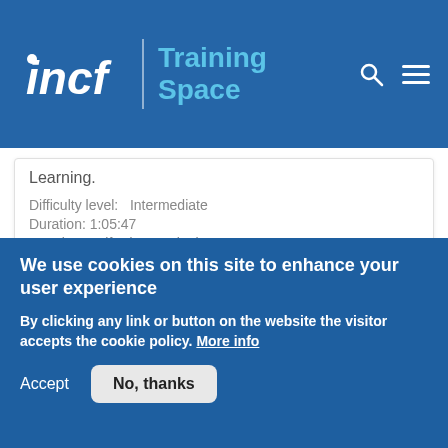incf | Training Space
Learning.
Difficulty level:   Intermediate
Duration: 1:05:47
Speaker: : Alfredo Canziani
Recurrent and convolutional nets
Course:  Deep Learning
[Figure (photo): Space/galaxy image used as course thumbnail]
We use cookies on this site to enhance your user experience
By clicking any link or button on the website the visitor accepts the cookie policy. More info
Accept   No, thanks